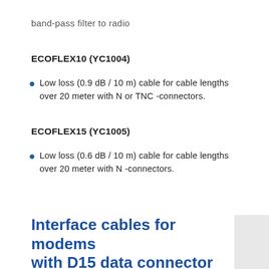band-pass filter to radio
ECOFLEX10 (YC1004)
Low loss (0.9 dB / 10 m) cable for cable lengths over 20 meter with N or TNC -connectors.
ECOFLEX15 (YC1005)
Low loss (0.6 dB / 10 m) cable for cable lengths over 20 meter with N -connectors.
Interface cables for modems with D15 data connector (SATELLINE-EASy, -3AS VHF)